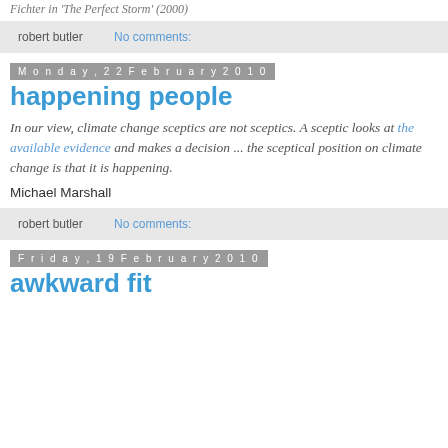Fichter in 'The Perfect Storm' (2000)
robert butler   No comments:
Monday, 22 February 2010
happening people
In our view, climate change sceptics are not sceptics. A sceptic looks at the available evidence and makes a decision ... the sceptical position on climate change is that it is happening.
Michael Marshall
robert butler   No comments:
Friday, 19 February 2010
awkward fit